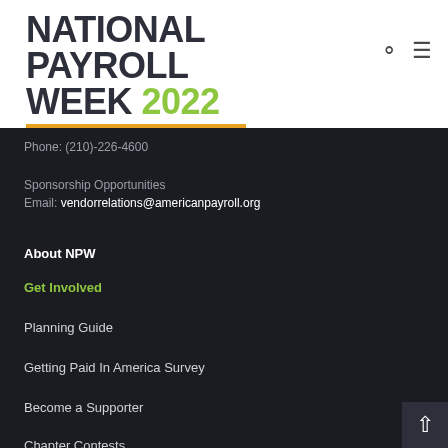[Figure (logo): National Payroll Week 2022 logo: bold dark text 'NATIONAL PAYROLL WEEK' with '2022' in green, orange underline bar]
Phone: (210)-226-4600
Sponsorship Opportunities
Email: vendorrelations@americanpayroll.org
About NPW
Get Involved
Planning Guide
Getting Paid In America Survey
Become a Supporter
Chapter Contests